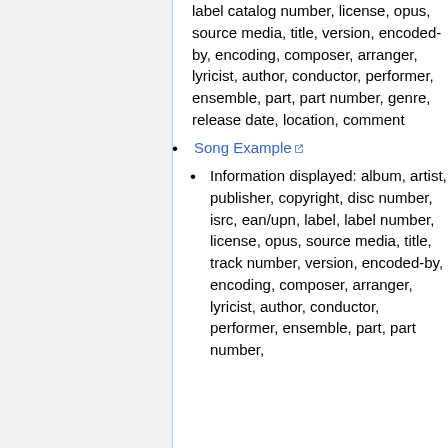label catalog number, license, opus, source media, title, version, encoded-by, encoding, composer, arranger, lyricist, author, conductor, performer, ensemble, part, part number, genre, release date, location, comment
Song Example
Information displayed: album, artist, publisher, copyright, disc number, isrc, ean/upn, label, label number, license, opus, source media, title, track number, version, encoded-by, encoding, composer, arranger, lyricist, author, conductor, performer, ensemble, part, part number